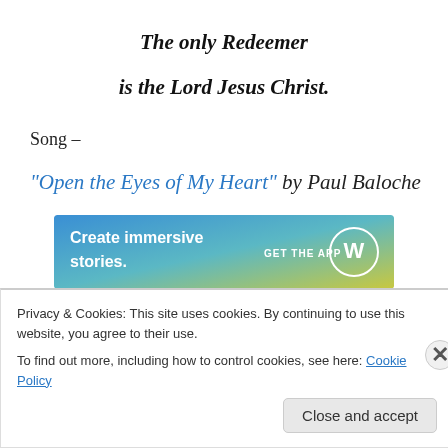The only Redeemer is the Lord Jesus Christ.
Song –
“Open the Eyes of My Heart” by Paul Baloche
[Figure (infographic): WordPress advertisement banner: 'Create immersive stories. GET THE APP' with WordPress logo on a blue-green gradient background.]
REPORT THIS AD
SCRIPTURE READING – Romans 1:18-25
Privacy & Cookies: This site uses cookies. By continuing to use this website, you agree to their use.
To find out more, including how to control cookies, see here: Cookie Policy
Close and accept